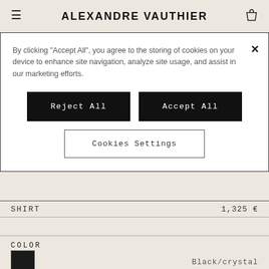ALEXANDRE VAUTHIER
By clicking "Accept All", you agree to the storing of cookies on your device to enhance site navigation, analyze site usage, and assist in our marketing efforts.
Reject All
Accept All
Cookies Settings
SHIRT   1,325 €
COLOR
Black/crystal
SIZE
XS  S  M  L  Size guide